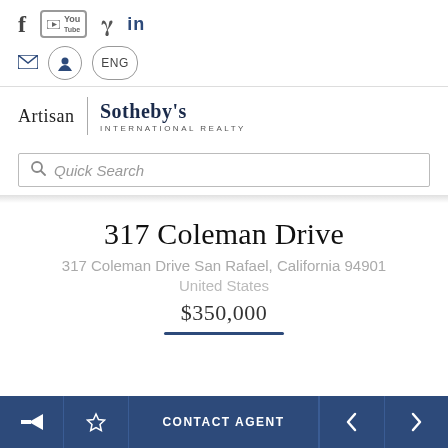f  YouTube  Pinterest  in
[Figure (logo): Artisan Sotheby's International Realty logo]
Quick Search
317 Coleman Drive
317 Coleman Drive San Rafael, California 94901
United States
$350,000
CONTACT AGENT